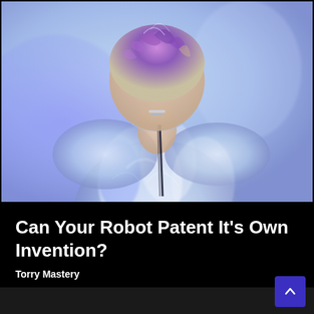[Figure (photo): A person viewed from behind wearing a shiny translucent futuristic outfit with a high collar, set against a blue-purple lit background. The person's hair has blue-purple highlights.]
Can Your Robot Patent It's Own Invention?
Torry Mastery